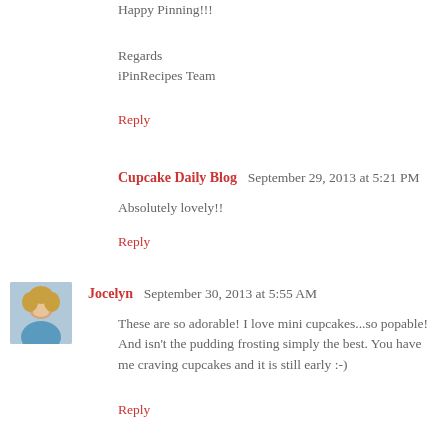Happy Pinning!!!
Regards
iPinRecipes Team
Reply
Cupcake Daily Blog  September 29, 2013 at 5:21 PM
Absolutely lovely!!
Reply
Jocelyn  September 30, 2013 at 5:55 AM
These are so adorable! I love mini cupcakes...so popable! And isn't the pudding frosting simply the best. You have me craving cupcakes and it is still early :-)
Reply